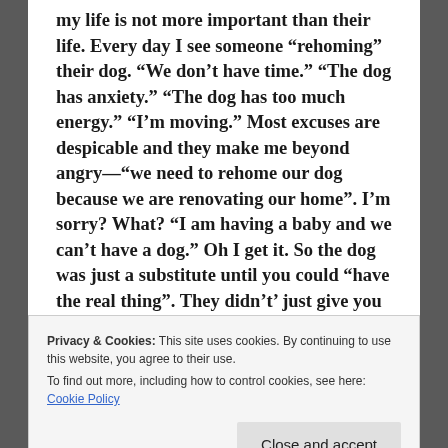my life is not more important than their life. Every day I see someone “rehoming” their dog. “We don’t have time.” “The dog has anxiety.” “The dog has too much energy.” “I’m moving.” Most excuses are despicable and they make me beyond angry—“we need to rehome our dog because we are renovating our home”. I’m sorry? What? “I am having a baby and we can’t have a dog.” Oh I get it. So the dog was just a substitute until you could “have the real thing”. They didn’t’ just give you years of their life or anything. They are disposable you’re right. Just like those shoes that you only wore three times but they aren’t in style anymore. One that really gets me is when they blame the “problems” they
Privacy & Cookies: This site uses cookies. By continuing to use this website, you agree to their use. To find out more, including how to control cookies, see here: Cookie Policy
“rescue” because they were OBVIOUSLY broken to